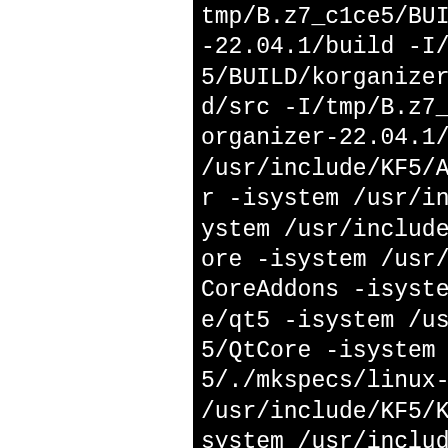tmp/B.z7_c1ce5/BUILD/korga -22.04.1/build -I/tmp/B.z 5/BUILD/korganizer-22.04.1 d/src -I/tmp/B.z7_c1ce5/BU organizer-22.04.1/src -isy /usr/include/KF5/AkonadiCa r -isystem /usr/include/KF ystem /usr/include/KF5/Ako ore -isystem /usr/include/ CoreAddons -isystem /usr/i e/qt5 -isystem /usr/includ 5/QtCore -isystem /usr/lib 5/./mkspecs/linux-g++ -isy /usr/include/KF5/KItemMode system /usr/include/qt5/Qt isystem /usr/include/KF5/K darCore -isystem /usr/incl F5/KWidgetsAddons -isystem r/include/qt5/QtWidgets -i m /usr/include/KF5/KI18n em /usr/include/KF5/KCalUt isystem /usr/include/KF5/K ils/kcalutils -isystem /us lude/KF5/KConfig -isystem